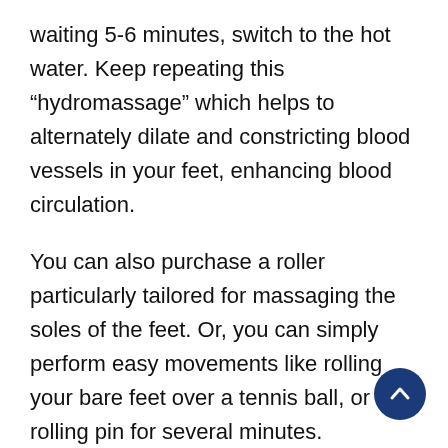waiting 5-6 minutes, switch to the hot water. Keep repeating this “hydromassage” which helps to alternately dilate and constricting blood vessels in your feet, enhancing blood circulation.
You can also purchase a roller particularly tailored for massaging the soles of the feet. Or, you can simply perform easy movements like rolling your bare feet over a tennis ball, or rolling pin for several minutes.
Note that, if you experience foot pain due to flat feet, then you may find utilizing shoe inserts, or orthotics in order to relieve the pain.